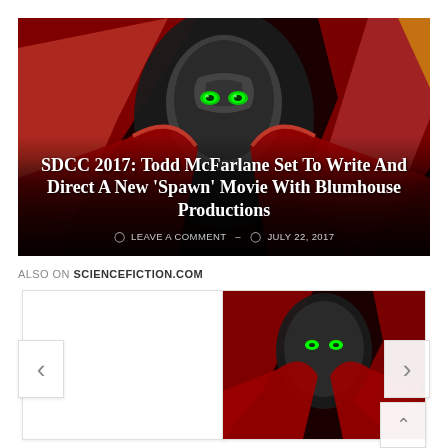[Figure (illustration): Hero image showing Spawn comic book character — dark figure with glowing green eyes, red cape/cloak, dramatic dark red and black background. Overlaid with article title and metadata.]
SDCC 2017: Todd McFarlane Set To Write And Direct A New 'Spawn' Movie With Blumhouse Productions
LEAVE A COMMENT - JULY 22, 2017
ALSO ON SCIENCEFICTION.COM
[Figure (screenshot): Carousel navigation area with left chevron button, two article preview cards (left card blank/white, right card showing similar Spawn artwork), right chevron button, and an up chevron scroll-to-top button.]